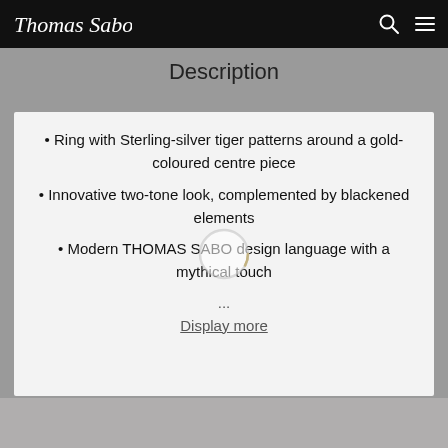Thomas Sabo
Description
Ring with Sterling-silver tiger patterns around a gold-coloured centre piece
Innovative two-tone look, complemented by blackened elements
Modern THOMAS SABO design language with a mythical touch
...
Display more